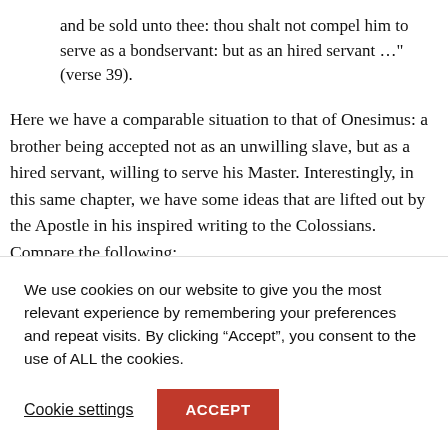and be sold unto thee: thou shalt not compel him to serve as a bondservant: but as an hired servant …" (verse 39).
Here we have a comparable situation to that of Onesimus: a brother being accepted not as an unwilling slave, but as a hired servant, willing to serve his Master. Interestingly, in this same chapter, we have some ideas that are lifted out by the Apostle in his inspired writing to the Colossians. Compare the following:
We use cookies on our website to give you the most relevant experience by remembering your preferences and repeat visits. By clicking “Accept”, you consent to the use of ALL the cookies.
Cookie settings
ACCEPT